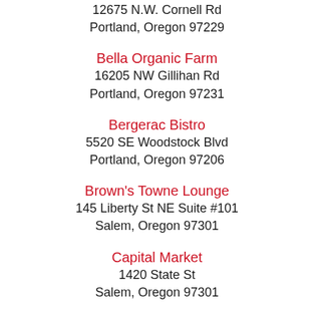12675 N.W. Cornell Rd
Portland, Oregon 97229
Bella Organic Farm
16205 NW Gillihan Rd
Portland, Oregon 97231
Bergerac Bistro
5520 SE Woodstock Blvd
Portland, Oregon 97206
Brown's Towne Lounge
145 Liberty St NE Suite #101
Salem, Oregon 97301
Capital Market
1420 State St
Salem, Oregon 97301
Cowboy Coffee at Prairie House Inn
524 East Main Street